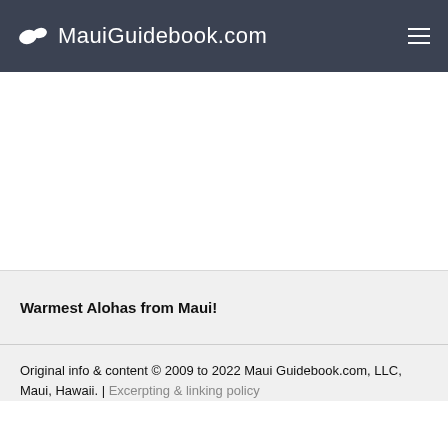MauiGuidebook.com
Warmest Alohas from Maui!
Original info & content © 2009 to 2022 Maui Guidebook.com, LLC, Maui, Hawaii. | Excerpting & linking policy